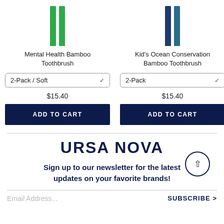[Figure (illustration): Two green bamboo toothbrush handles shown from above on white background]
Mental Health Bamboo Toothbrush
2-Pack / Soft
$15.40
ADD TO CART
[Figure (illustration): Two dark blue bamboo toothbrush handles shown from above on white background]
Kid's Ocean Conservation Bamboo Toothbrush
2-Pack
$15.40
ADD TO CART
URSA NOVA
Sign up to our newsletter for the latest updates on your favorite brands!
Email Address...
SUBSCRIBE >